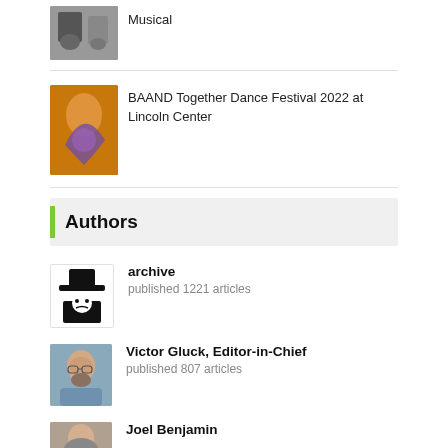Musical
BAAND Together Dance Festival 2022 at Lincoln Center
Authors
archive
published 1221 articles
Victor Gluck, Editor-in-Chief
published 807 articles
Joel Benjamin